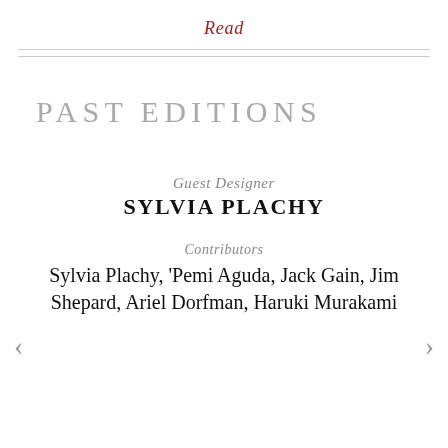Read
PAST EDITIONS
Guest Designer
SYLVIA PLACHY
Contributors
Sylvia Plachy, ‘Pemi Aguda, Jack Gain, Jim Shepard, Ariel Dorfman, Haruki Murakami